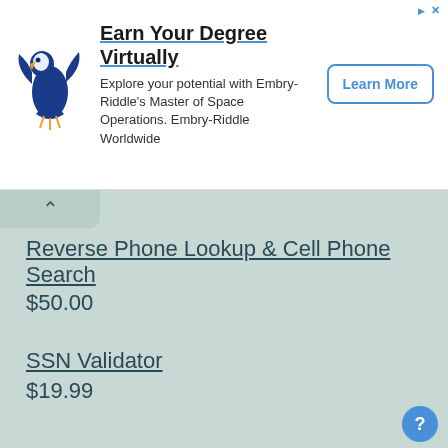[Figure (screenshot): Advertisement banner for Embry-Riddle with eagle logo, showing 'Earn Your Degree Virtually' headline and 'Learn More' button]
Reverse Phone Lookup & Cell Phone Search
$50.00
Reverse Social Security Number Lookup
$99.00
Reverse Address Lookup
$50.00
SSN Validator
$19.99